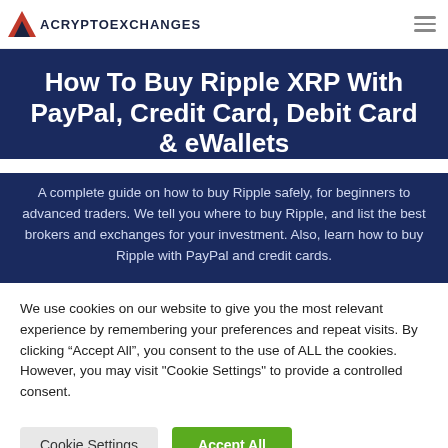ACRYPTOEXCHANGES
How To Buy Ripple XRP With PayPal, Credit Card, Debit Card & eWallets
A complete guide on how to buy Ripple safely, for beginners to advanced traders. We tell you where to buy Ripple, and list the best brokers and exchanges for your investment. Also, learn how to buy Ripple with PayPal and credit cards.
We use cookies on our website to give you the most relevant experience by remembering your preferences and repeat visits. By clicking “Accept All”, you consent to the use of ALL the cookies. However, you may visit "Cookie Settings" to provide a controlled consent.
Cookie Settings  Accept All